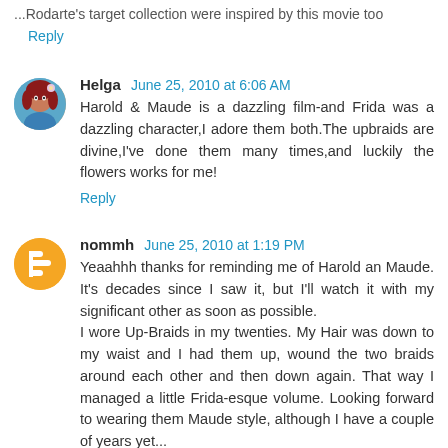...Rodarte's target collection were inspired by this movie too
Reply
Helga  June 25, 2010 at 6:06 AM
Harold & Maude is a dazzling film-and Frida was a dazzling character,I adore them both.The upbraids are divine,I've done them many times,and luckily the flowers works for me!
Reply
nommh  June 25, 2010 at 1:19 PM
Yeaahhh thanks for reminding me of Harold an Maude. It's decades since I saw it, but I'll watch it with my significant other as soon as possible.
I wore Up-Braids in my twenties. My Hair was down to my waist and I had them up, wound the two braids around each other and then down again. That way I managed a little Frida-esque volume. Looking forward to wearing them Maude style, although I have a couple of years yet...